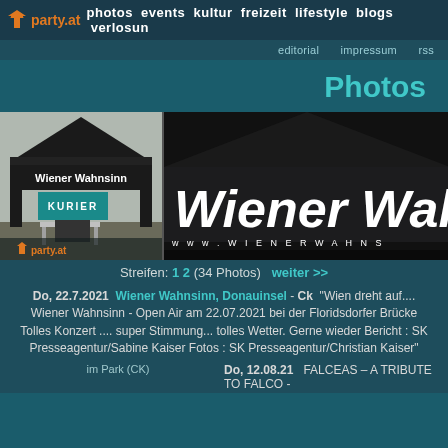party.at photos events kultur freizeit lifestyle blogs verlosun
editorial impressum rss
Photos
[Figure (photo): Two photos of Wiener Wahnsinn branded tent/gazebo at outdoor event. Left photo shows full tent with KURIER branding and party.at logo overlay. Right photo shows close-up of tent roof with 'Wiener Wahn' text and www.wienerwahns... URL.]
Streifen: 1 2 (34 Photos)   weiter >>
Do, 22.7.2021  Wiener Wahnsinn, Donauinsel - Ck  "Wien dreht auf.... Wiener Wahnsinn - Open Air am 22.07.2021 bei der Floridsdorfer Brücke Tolles Konzert .... super Stimmung... tolles Wetter. Gerne wieder Bericht : SK Presseagentur/Sabine Kaiser Fotos : SK Presseagentur/Christian Kaiser"
im Park (CK)
Do, 12.08.21   FALCEAS – A TRIBUTE TO FALCO -